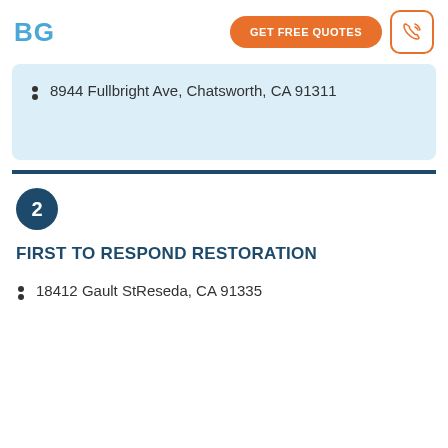BG
8944 Fullbright Ave, Chatsworth, CA 91311
2
FIRST TO RESPOND RESTORATION
18412 Gault StReseda, CA 91335